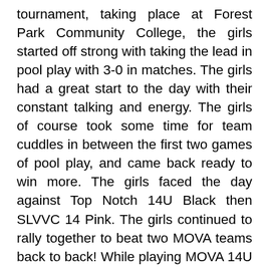tournament, taking place at Forest Park Community College, the girls started off strong with taking the lead in pool play with 3-0 in matches. The girls had a great start to the day with their constant talking and energy. The girls of course took some time for team cuddles in between the first two games of pool play, and came back ready to win more. The girls faced the day against Top Notch 14U Black then SLVVC 14 Pink. The girls continued to rally together to beat two MOVA teams back to back! While playing MOVA 14U Gold in the first round of the gold bracket, the girls had the most energy and excitement I had seen all weekend! The girls were extra hyped when Koi had a huge stuff block on their middle. Our front row was on their game. With Lilli and Kloi being a huge force to be reckoned with in the front row, which led our back row to feed off their energy and start to combine